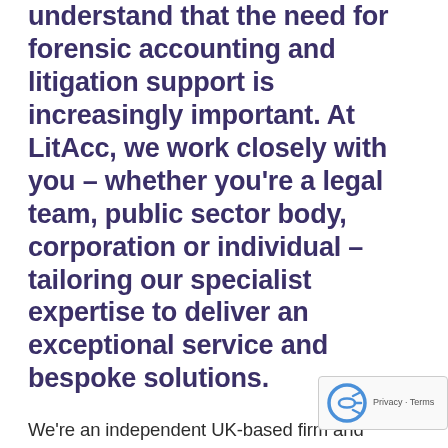understand that the need for forensic accounting and litigation support is increasingly important. At LitAcc, we work closely with you – whether you're a legal team, public sector body, corporation or individual – tailoring our specialist expertise to deliver an exceptional service and bespoke solutions.
We're an independent UK-based firm and leading provider of specialist accounting services, including forensic accounting, litigation support, tax dispute resolution and business valuation services. The team at LitAcc has helped clients settle commercial and matrimonial disputes, defend confiscation orders and criminal proceedings, identify instances of (including bribery and corruption), and determ...